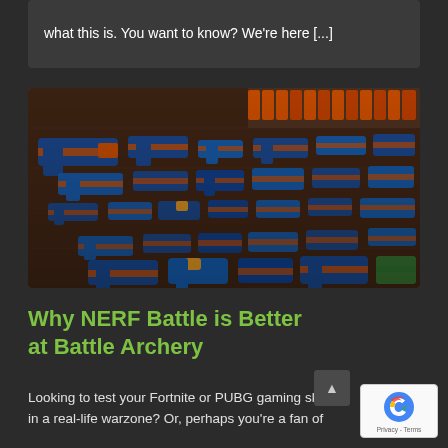what this is. You want to know? We're here [...]
[Figure (photo): Large collection of NERF guns (blue and orange) laid out on a wooden floor, viewed from above at an angle.]
Why NERF Battle is Better at Battle Archery
Looking to test your Fortnite or PUBG gaming skills in a real-life warzone? Or, perhaps you're a fan of hit HBO show Game of Thrones. [...]